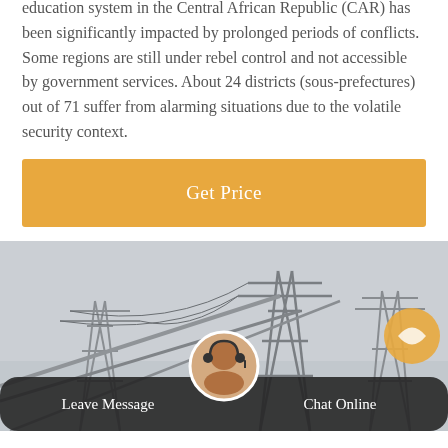education system in the Central African Republic (CAR) has been significantly impacted by prolonged periods of conflicts. Some regions are still under rebel control and not accessible by government services. About 24 districts (sous-prefectures) out of 71 suffer from alarming situations due to the volatile security context.
Get Price
[Figure (photo): Photograph of electrical power transmission pylons and power lines against a grey sky, with a chat interface overlay at the bottom showing Leave Message and Chat Online options and a customer service avatar.]